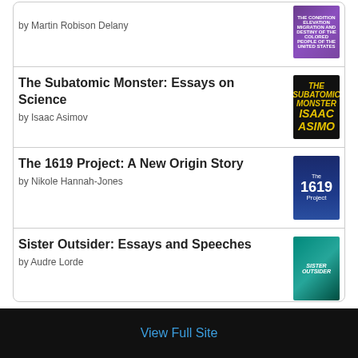The Subatomic Monster: Essays on Science by Isaac Asimov
The 1619 Project: A New Origin Story by Nikole Hannah-Jones
Sister Outsider: Essays and Speeches by Audre Lorde
[Figure (logo): Goodreads logo in a rounded rectangle border]
View Full Site